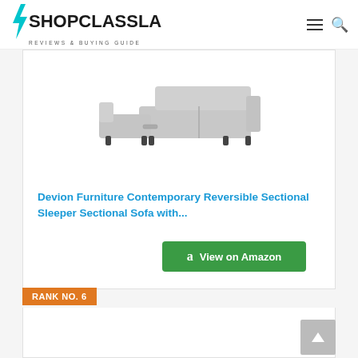SHOPCLASSLA REVIEWS & BUYING GUIDE
[Figure (photo): Gray L-shaped sectional sleeper sofa with storage chaise]
Devion Furniture Contemporary Reversible Sectional Sleeper Sectional Sofa with...
View on Amazon
RANK NO. 6